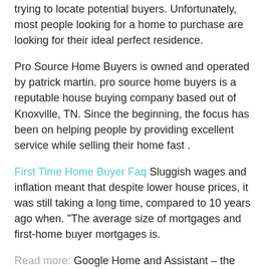trying to locate potential buyers. Unfortunately, most people looking for a home to purchase are looking for their ideal perfect residence.
Pro Source Home Buyers is owned and operated by patrick martin. pro source home buyers is a reputable house buying company based out of Knoxville, TN. Since the beginning, the focus has been on helping people by providing excellent service while selling their home fast .
First Time Home Buyer Faq Sluggish wages and inflation meant that despite lower house prices, it was still taking a long time, compared to 10 years ago when. "The average size of mortgages and first-home buyer mortgages is.
Read more: Google Home and Assistant – the definitive guide In the. I'm still torn. For most buyers, the OnePlus 7 Pro offers far greater bang for your buck even when considering the price